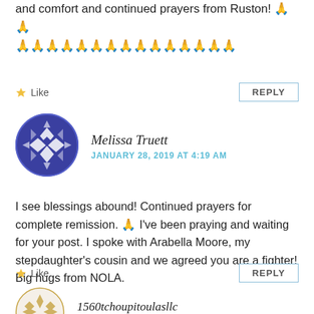and comfort and continued prayers from Ruston! 🙏🙏🙏🙏🙏🙏🙏🙏🙏🙏🙏🙏🙏🙏🙏🙏🙏
Like    REPLY
Melissa Truett
JANUARY 28, 2019 AT 4:19 AM
I see blessings abound! Continued prayers for complete remission. 🙏 I've been praying and waiting for your post. I spoke with Arabella Moore, my stepdaughter's cousin and we agreed you are a fighter! Big hugs from NOLA.
Like    REPLY
1560tchoupitoulasllc
JANUARY 28, 2019 AT 4:39 AM